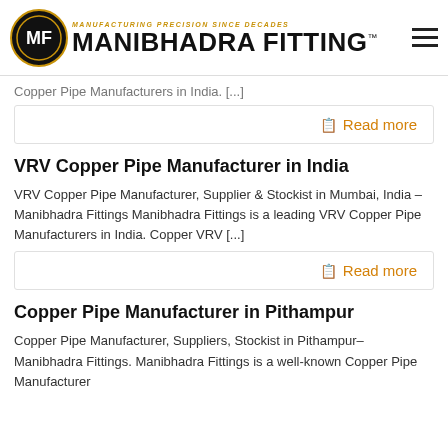MANIBHADRA FITTING™ — MANUFACTURING PRECISION SINCE DECADES
Copper Pipe Manufacturers in India. [...]
Read more
VRV Copper Pipe Manufacturer in India
VRV Copper Pipe Manufacturer, Supplier & Stockist in Mumbai, India – Manibhadra Fittings Manibhadra Fittings is a leading VRV Copper Pipe Manufacturers in India. Copper VRV [...]
Read more
Copper Pipe Manufacturer in Pithampur
Copper Pipe Manufacturer, Suppliers, Stockist in Pithampur– Manibhadra Fittings. Manibhadra Fittings is a well-known Copper Pipe Manufacturer